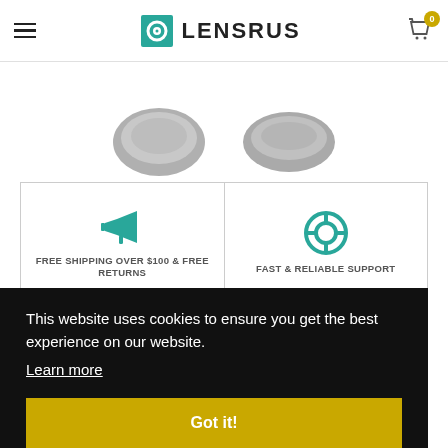LENSRUS
[Figure (photo): Two gray lens/sunglass lenses partially visible at top of page]
[Figure (infographic): Feature strip with two cells: megaphone icon with text FREE SHIPPING OVER $100 & FREE RETURNS, and lifebuoy icon with text FAST & RELIABLE SUPPORT]
This website uses cookies to ensure you get the best experience on our website.
Learn more
Got it!
$600.00